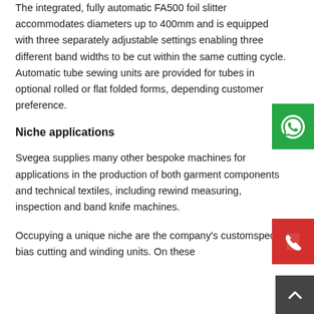The integrated, fully automatic FA500 foil slitter accommodates diameters up to 400mm and is equipped with three separately adjustable settings enabling three different band widths to be cut within the same cutting cycle. Automatic tube sewing units are provided for tubes in optional rolled or flat folded forms, depending on customer preference.
Niche applications
Svegea supplies many other bespoke machines for applications in the production of both garment components and technical textiles, including rewind, measuring, inspection and band knife machines.
Occupying a unique niche are the company's custom-specific bias cutting and winding units. On these